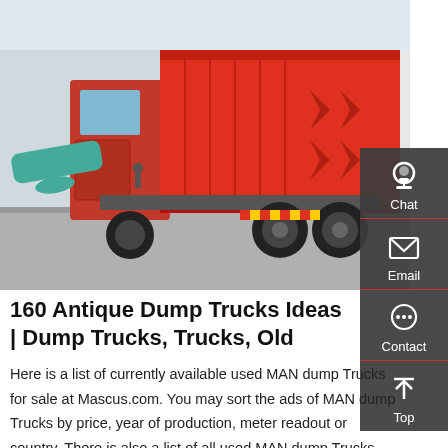[Figure (photo): Red MAN dump truck photographed from the rear-side, showing large red dump bed with chevron patterns, dual rear axles with large tires, parked at an industrial facility with a warehouse building in the background.]
160 Antique Dump Trucks Ideas | Dump Trucks, Trucks, Old
Here is a list of currently available used MAN dump Trucks for sale at Mascus.com. You may sort the ads of MAN dump Trucks by price, year of production, meter readout or country. There is also a list of all used MAN dump Trucks grouped by